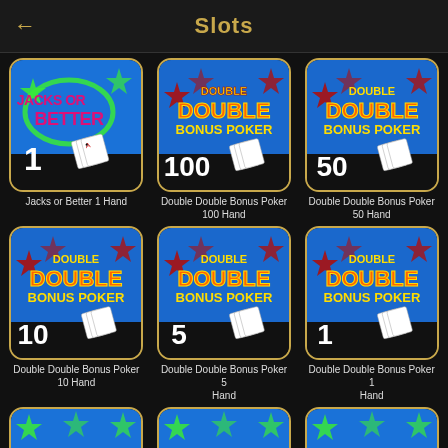Slots
[Figure (screenshot): Jacks or Better 1 Hand game icon - blue background with star design and playing cards, number 1]
Jacks or Better 1 Hand
[Figure (screenshot): Double Double Bonus Poker 100 Hand game icon - blue background with red stars and playing cards, number 100]
Double Double Bonus Poker 100 Hand
[Figure (screenshot): Double Double Bonus Poker 50 Hand game icon - blue background with red stars and playing cards, number 50]
Double Double Bonus Poker 50 Hand
[Figure (screenshot): Double Double Bonus Poker 10 Hand game icon - blue background with red stars and playing cards, number 10]
Double Double Bonus Poker 10 Hand
[Figure (screenshot): Double Double Bonus Poker 5 Hand game icon - blue background with red stars and playing cards, number 5]
Double Double Bonus Poker 5 Hand
[Figure (screenshot): Double Double Bonus Poker 1 Hand game icon - blue background with red stars and playing cards, number 1]
Double Double Bonus Poker 1 Hand
[Figure (screenshot): Partially visible game icon at bottom left - blue background with green stars]
[Figure (screenshot): Partially visible game icon at bottom center - blue background with green stars]
[Figure (screenshot): Partially visible game icon at bottom right - blue background with green stars]